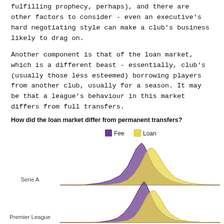fulfilling prophecy, perhaps), and there are other factors to consider - even an executive's hard negotiating style can make a club's business likely to drag on.
Another component is that of the loan market, which is a different beast - essentially, club's (usually those less esteemed) borrowing players from another club, usually for a season. It may be that a league's behaviour in this market differs from full transfers.
How did the loan market differ from permanent transfers?
[Figure (continuous-plot): Density distribution curves comparing Fee (purple) and Loan (yellow) transfers for Serie A and Premier League. The x-axis represents transfer values. Each league shows two overlapping density curves - purple for Fee transfers and yellow for Loan transfers. The distributions peak in the mid-to-high value range.]